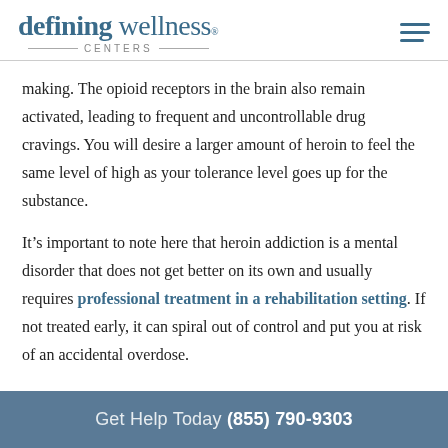defining wellness CENTERS
making. The opioid receptors in the brain also remain activated, leading to frequent and uncontrollable drug cravings. You will desire a larger amount of heroin to feel the same level of high as your tolerance level goes up for the substance.
It’s important to note here that heroin addiction is a mental disorder that does not get better on its own and usually requires professional treatment in a rehabilitation setting. If not treated early, it can spiral out of control and put you at risk of an accidental overdose.
Get Help Today (855) 790-9303